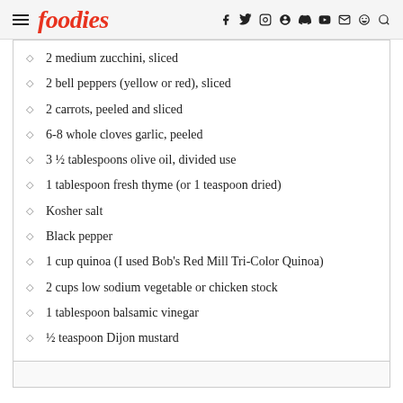foodies
2 medium zucchini, sliced
2 bell peppers (yellow or red), sliced
2 carrots, peeled and sliced
6-8 whole cloves garlic, peeled
3 ½ tablespoons olive oil, divided use
1 tablespoon fresh thyme (or 1 teaspoon dried)
Kosher salt
Black pepper
1 cup quinoa (I used Bob's Red Mill Tri-Color Quinoa)
2 cups low sodium vegetable or chicken stock
1 tablespoon balsamic vinegar
½ teaspoon Dijon mustard